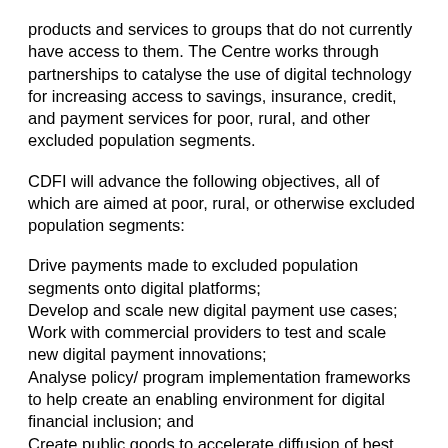products and services to groups that do not currently have access to them. The Centre works through partnerships to catalyse the use of digital technology for increasing access to savings, insurance, credit, and payment services for poor, rural, and other excluded population segments.
CDFI will advance the following objectives, all of which are aimed at poor, rural, or otherwise excluded population segments:
Drive payments made to excluded population segments onto digital platforms;
Develop and scale new digital payment use cases;
Work with commercial providers to test and scale new digital payment innovations;
Analyse policy/ program implementation frameworks to help create an enabling environment for digital financial inclusion; and
Create public goods to accelerate diffusion of best